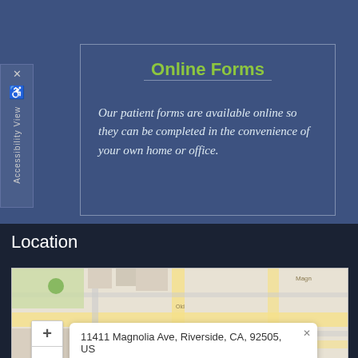Online Forms
Our patient forms are available online so they can be completed in the convenience of your own home or office.
Location
[Figure (map): Street map showing location at 11411 Magnolia Ave, Riverside, CA, 92505, US with a blue map pin marker and zoom controls (+/-)]